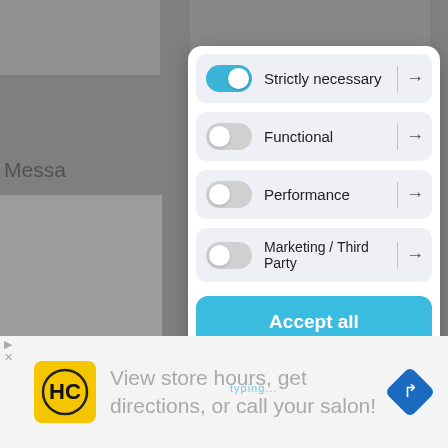[Figure (screenshot): Cookie consent modal overlay on a website. The modal shows four toggle rows: 'Strictly necessary' (toggled on, blue), 'Functional' (off), 'Performance' (off), 'Marketing / Third Party' (off), each with a right arrow. Below are two buttons: 'Accept all' (blue) and 'Accept only selected' (white/outlined). The background shows a grayed-out website with 'Messa' text visible. At the bottom is an advertisement for HC (a hair salon) showing 'View store hours, get directions, or call your salon!']